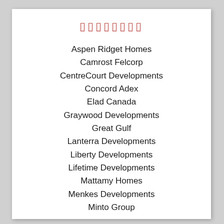▯▯▯▯▯▯▯▯
Aspen Ridget Homes
Camrost Felcorp
CentreCourt Developments
Concord Adex
Elad Canada
Graywood Developments
Great Gulf
Lanterra Developments
Liberty Developments
Lifetime Developments
Mattamy Homes
Menkes Developments
Minto Group